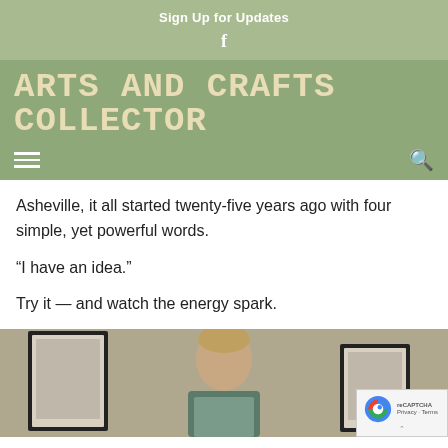Sign Up for Updates
ARTS AND CRAFTS COLLECTOR
Asheville, it all started twenty-five years ago with four simple, yet powerful words.
“I have an idea.”
Try it — and watch the energy spark.
[Figure (photo): A man standing in front of framed artwork on a wall, with a reCAPTCHA privacy badge overlay in the bottom right corner.]